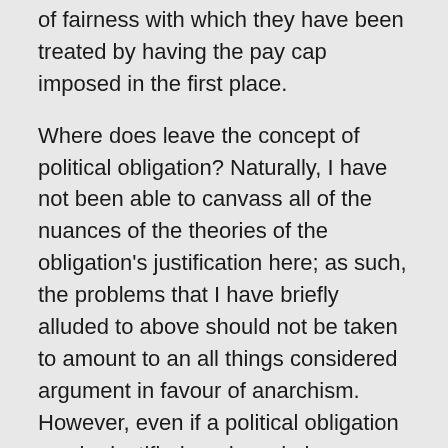of fairness with which they have been treated by having the pay cap imposed in the first place.
Where does leave the concept of political obligation? Naturally, I have not been able to canvass all of the nuances of the theories of the obligation's justification here; as such, the problems that I have briefly alluded to above should not be taken to amount to an all things considered argument in favour of anarchism. However, even if a political obligation can be justified, and we do have some content-independent moral reason to obey the law, this does not settle the further matter of whether it should be taken to override the strong content-dependent moral reasons we might plausibly have to oppose certain laws. Few would doubt the morality of those who historically opposed laws enshrining slavery, apartheid, or the discrimination of women.